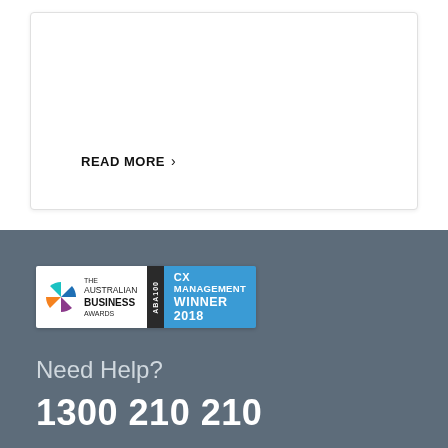READ MORE >
[Figure (logo): The Australian Business Awards ABA100 CX Management Winner 2018 badge]
Need Help?
1300 210 210